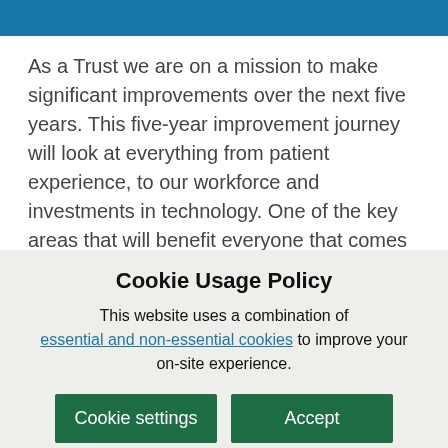As a Trust we are on a mission to make significant improvements over the next five years. This five-year improvement journey will look at everything from patient experience, to our workforce and investments in technology. One of the key areas that will benefit everyone that comes to our hospitals is improving our
Cookie Usage Policy
This website uses a combination of essential and non-essential cookies to improve your on-site experience.
Cookie settings | Accept